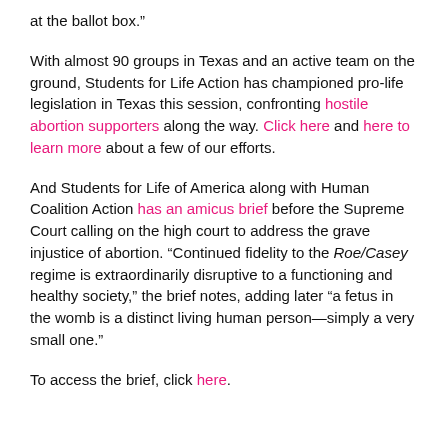at the ballot box.”
With almost 90 groups in Texas and an active team on the ground, Students for Life Action has championed pro-life legislation in Texas this session, confronting hostile abortion supporters along the way. Click here and here to learn more about a few of our efforts.
And Students for Life of America along with Human Coalition Action has an amicus brief before the Supreme Court calling on the high court to address the grave injustice of abortion. “Continued fidelity to the Roe/Casey regime is extraordinarily disruptive to a functioning and healthy society,” the brief notes, adding later “a fetus in the womb is a distinct living human person—simply a very small one.”
To access the brief, click here.